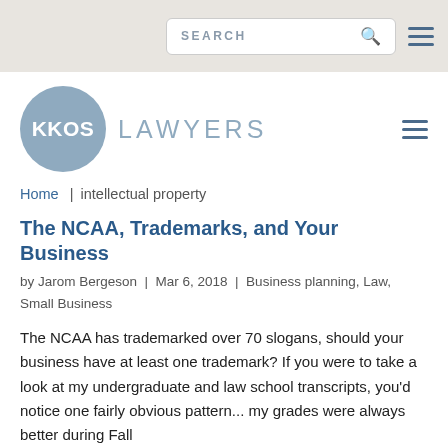SEARCH
[Figure (logo): KKOS Lawyers logo with blue circle and text]
Home | intellectual property
The NCAA, Trademarks, and Your Business
by Jarom Bergeson | Mar 6, 2018 | Business planning, Law, Small Business
The NCAA has trademarked over 70 slogans, should your business have at least one trademark? If you were to take a look at my undergraduate and law school transcripts, you'd notice one fairly obvious pattern... my grades were always better during Fall